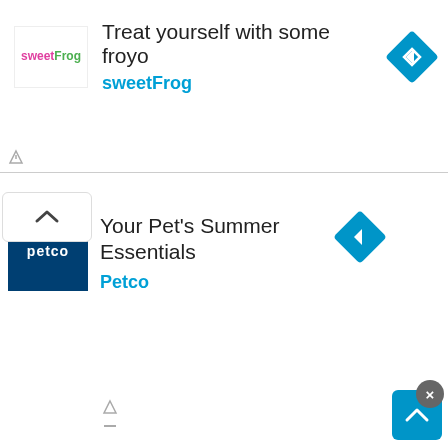[Figure (other): SweetFrog advertisement banner: logo, text 'Treat yourself with some froyo', link 'sweetFrog', navigation icon]
How do you find the truth value in logic?
Quote:
So 2 to the power of 2 is equal to 4 we should have 4 combinations. Where this is true true true false false true. And false false the next column in your truth table should be if P then Q.
[Figure (other): Petco advertisement banner: logo, text 'Your Pet’s Summer Essentials', link 'Petco', navigation icon, scroll up button]